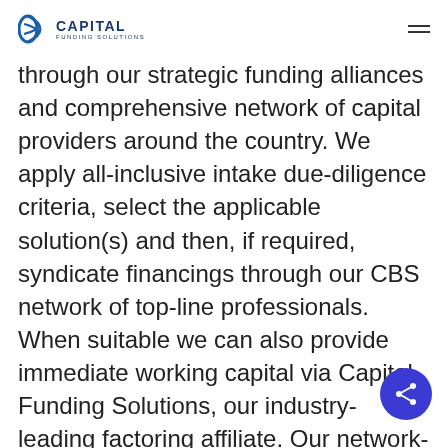Capital Funding Solutions
through our strategic funding alliances and comprehensive network of capital providers around the country. We apply all-inclusive intake due-diligence criteria, select the applicable solution(s) and then, if required, syndicate financings through our CBS network of top-line professionals. When suitable we can also provide immediate working capital via Capital Funding Solutions, our industry-leading factoring affiliate. Our network-funding capabilities rang from five million to several hundred million. Through our network and